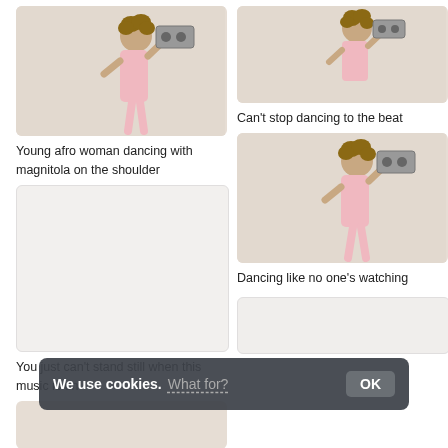[Figure (photo): Young afro woman in pink dress dancing with a boombox/magnitola on her shoulder, smiling, left column top]
Young afro woman dancing with magnitola on the shoulder
[Figure (photo): Same young afro woman with boombox on shoulder, cropped view, right column top]
Can't stop dancing to the beat
[Figure (photo): Light gray/white placeholder image, left column middle]
You just can't stand still when this music is on
[Figure (photo): Young afro woman dancing with boombox, full body, right column middle]
Dancing like no one's watching
[Figure (photo): Partial view of another image, right column bottom]
[Figure (photo): Partial view of image, left column bottom]
We use cookies. What for? OK